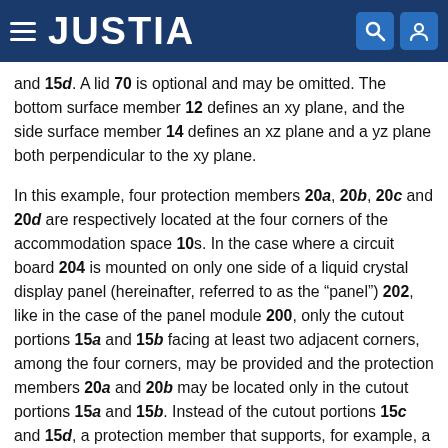JUSTIA
and 15d. A lid 70 is optional and may be omitted. The bottom surface member 12 defines an xy plane, and the side surface member 14 defines an xz plane and a yz plane both perpendicular to the xy plane.
In this example, four protection members 20a, 20b, 20c and 20d are respectively located at the four corners of the accommodation space 10s. In the case where a circuit board 204 is mounted on only one side of a liquid crystal display panel (hereinafter, referred to as the “panel”) 202, like in the case of the panel module 200, only the cutout portions 15a and 15b facing at least two adjacent corners, among the four corners, may be provided and the protection members 20a and 20b may be located only in the cutout portions 15a and 15b. Instead of the cutout portions 15c and 15d, a protection member that supports, for example, a side of the panel